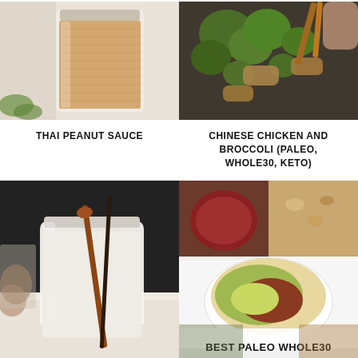[Figure (photo): Thai peanut sauce in a glass jar with a cloth in the background]
[Figure (photo): Chinese chicken and broccoli stir fry in a dark skillet with wooden chopsticks]
THAI PEANUT SAUCE
CHINESE CHICKEN AND BROCCOLI (PALEO, WHOLE30, KETO)
[Figure (photo): A glass jar of coconut milk or cream with a wooden spoon on a white surface]
[Figure (photo): Best Paleo Whole30 Thai Recipes collage with multiple Thai dishes]
[Figure (photo): Bottom portion of left photo — jar bottom on white surface]
[Figure (photo): Bottom portion of right photo — Thai food dishes]